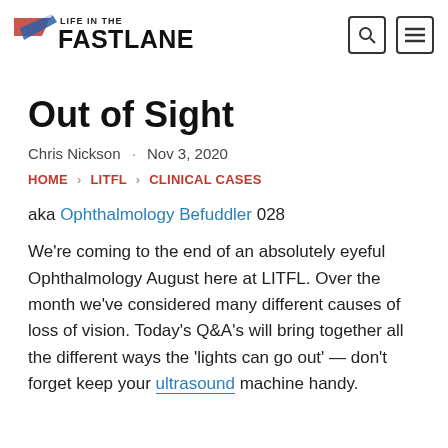LIFE IN THE FASTLANE
Out of Sight
Chris Nickson · Nov 3, 2020
HOME › LITFL › CLINICAL CASES
aka Ophthalmology Befuddler 028
We're coming to the end of an absolutely eyeful Ophthalmology August here at LITFL. Over the month we've considered many different causes of loss of vision. Today's Q&A's will bring together all the different ways the 'lights can go out' — don't forget keep your ultrasound machine handy.